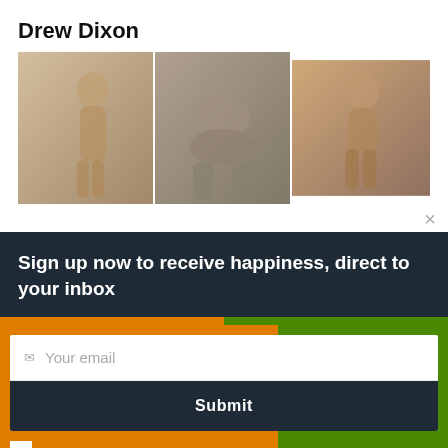Drew Dixon
[Figure (photo): Three side-by-side photos of male figure(s) in various poses]
×
Sign up now to receive happiness, direct to your inbox
Your email
Submit
Yes, I agree with the privacy policy.